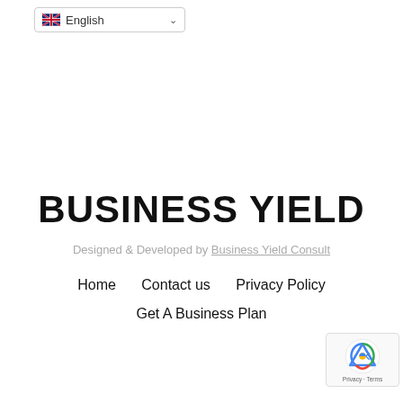[Figure (screenshot): Language selector dropdown showing English with UK flag and dropdown arrow]
BUSINESS YIELD
Designed & Developed by Business Yield Consult
Home   Contact us   Privacy Policy   Get A Business Plan
[Figure (logo): reCAPTCHA badge with Google logo showing Privacy and Terms text]